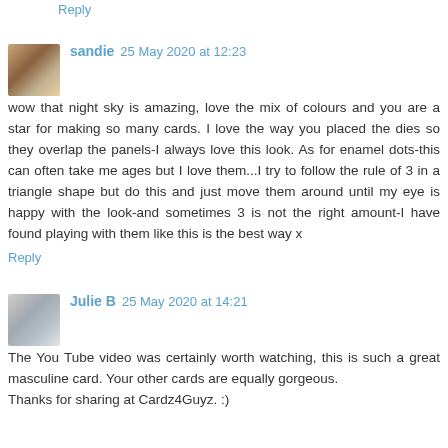Reply
sandie 25 May 2020 at 12:23
wow that night sky is amazing, love the mix of colours and you are a star for making so many cards. I love the way you placed the dies so they overlap the panels-I always love this look. As for enamel dots-this can often take me ages but I love them...I try to follow the rule of 3 in a triangle shape but do this and just move them around until my eye is happy with the look-and sometimes 3 is not the right amount-I have found playing with them like this is the best way x
Reply
Julie B 25 May 2020 at 14:21
The You Tube video was certainly worth watching, this is such a great masculine card. Your other cards are equally gorgeous.
Thanks for sharing at Cardz4Guyz. :)